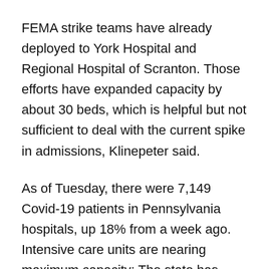FEMA strike teams have already deployed to York Hospital and Regional Hospital of Scranton. Those efforts have expanded capacity by about 30 beds, which is helpful but not sufficient to deal with the current spike in admissions, Klinepeter said.
As of Tuesday, there were 7,149 Covid-19 patients in Pennsylvania hospitals, up 18% from a week ago. Intensive care units are nearing maximum capacity: The state has 13.8% of its adult ICU beds and 12.4% of its pediatric ICU beds available.